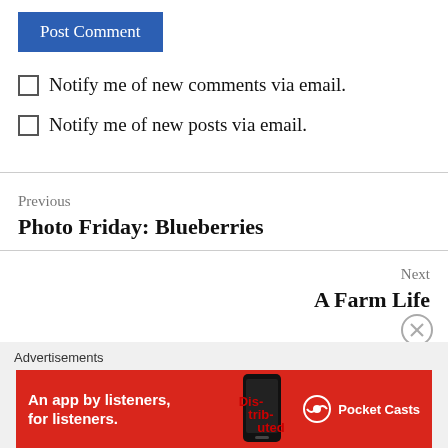Post Comment
Notify me of new comments via email.
Notify me of new posts via email.
Previous
Photo Friday: Blueberries
Next
A Farm Life
Advertisements
[Figure (screenshot): Pocket Casts advertisement banner: red background with text 'An app by listeners, for listeners.' and Pocket Casts logo on right, phone image in center]